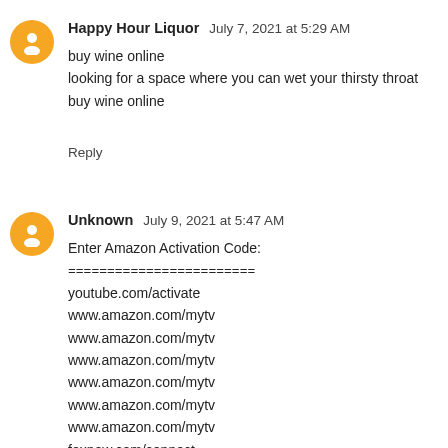Happy Hour Liquor  July 7, 2021 at 5:29 AM
buy wine online
looking for a space where you can wet your thirsty throat
buy wine online
Reply
Unknown  July 9, 2021 at 5:47 AM
Enter Amazon Activation Code:
========================
youtube.com/activate
www.amazon.com/mytv
www.amazon.com/mytv
www.amazon.com/mytv
www.amazon.com/mytv
www.amazon.com/mytv
www.amazon.com/mytv
foxnew.com/connect
hbomax.com/tvsignin